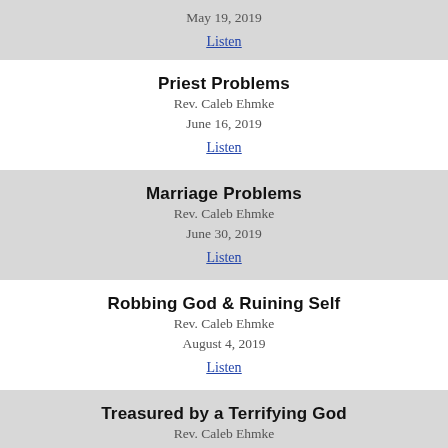May 19, 2019
Listen
Priest Problems
Rev. Caleb Ehmke
June 16, 2019
Listen
Marriage Problems
Rev. Caleb Ehmke
June 30, 2019
Listen
Robbing God & Ruining Self
Rev. Caleb Ehmke
August 4, 2019
Listen
Treasured by a Terrifying God
Rev. Caleb Ehmke
August 25, 2019